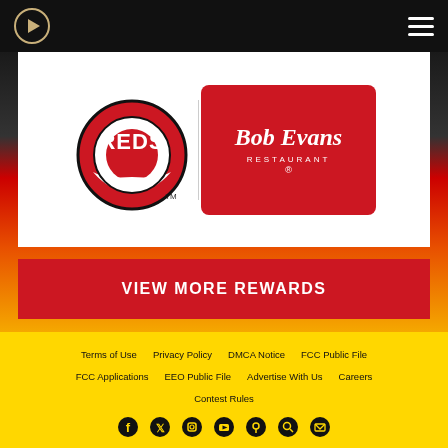[Figure (logo): Cincinnati Reds baseball team logo and Bob Evans Restaurant logo side by side on white background]
VIEW MORE REWARDS
Terms of Use  Privacy Policy  DMCA Notice  FCC Public File  FCC Applications  EEO Public File  Advertise With Us  Careers  Contest Rules